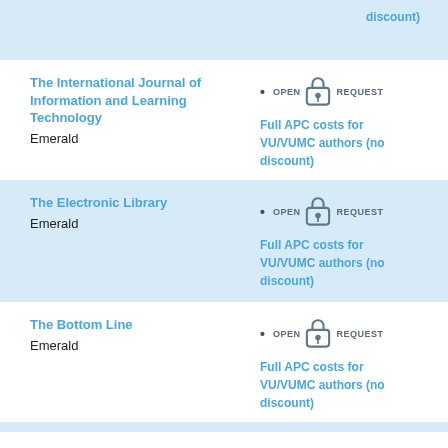discount)
The International Journal of Information and Learning Technology
Emerald
Full APC costs for VU/VUMC authors (no discount)
The Electronic Library
Emerald
Full APC costs for VU/VUMC authors (no discount)
The Bottom Line
Emerald
Full APC costs for VU/VUMC authors (no discount)